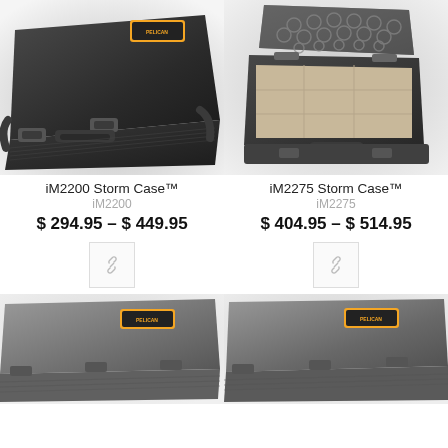[Figure (photo): iM2200 Storm Case closed, black hard case with latches and handle, top-down close-up view]
[Figure (photo): iM2275 Storm Case open, showing foam interior, black hard case with handle]
iM2200 Storm Case™
iM2200
$ 294.95 – $ 449.95
iM2275 Storm Case™
iM2275
$ 404.95 – $ 514.95
[Figure (photo): Bottom left product image: grey/silver Storm Case closed, top-down view with label]
[Figure (photo): Bottom right product image: grey Storm Case closed, top-down view with label]